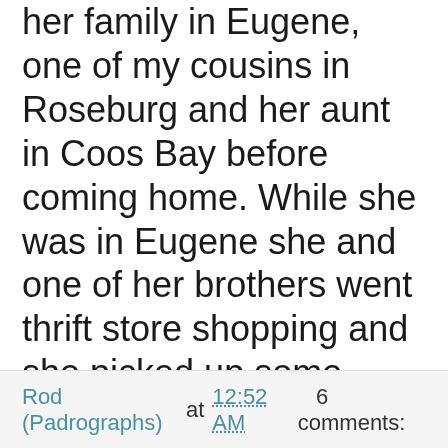her family in Eugene, one of my cousins in Roseburg and her aunt in Coos Bay before coming home.  While she was in Eugene she and one of her brothers went thrift store shopping and she picked up some albums for me.  They were 99¢ each.  To me this was the cream of the crop.  It has Werewolves of London, Roland the Headless Thompson Gunner and Send Lawyers, Guns and Money along with the title track.  It is one of my all time favorite albums.
Rod (Padrographs) at 12:52 AM   6 comments: